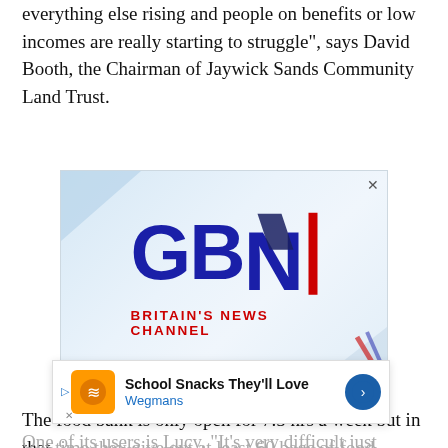everything else rising and people on benefits or low incomes are really starting to struggle”, says David Booth, the Chairman of Jaywick Sands Community Land Trust.
[Figure (logo): GBN (GB News) advertisement — Britain's News Channel logo on a light blue gradient background with red and blue diagonal accents and a close button.]
The food bank is only open for 7.5 hrs a week but in that time they give out at least 60 bags of food, collected almost daily fro...
[Figure (screenshot): Popup advertisement bar: School Snacks They'll Love — Wegmans, with orange icon, play button, and blue arrow.]
One of its users is Lucy. “It’s very difficult just making ends